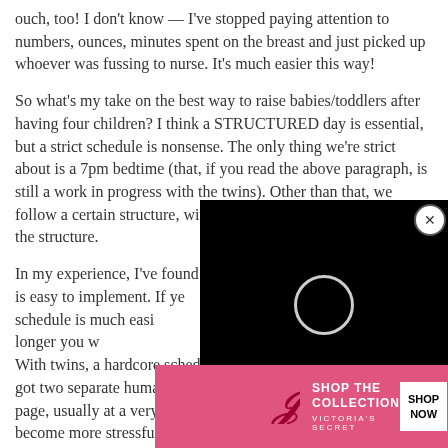ouch, too! I don't know — I've stopped paying attention to numbers, ounces, minutes spent on the breast and just picked up whoever was fussing to nurse. It's much easier this way!
So what's my take on the best way to raise babies/toddlers after having four children? I think a STRUCTURED day is essential, but a strict schedule is nonsense. The only thing we're strict about is a 7pm bedtime (that, if you read the above paragraph, is still a work in progress with the twins). Other than that, we follow a certain structure, with lots of room for deviations from the structure.
In my experience, I've found that if [video overlay] schedule is easy to implement. If yo[video] or formula) a schedule is much easi[video] kids you have and the longer you w[video] a strict schedule makes sense. With twins, a hardcore schedule is just laughable because you've got two separate humans you're attempting to get on the same page, usually at a very young age. The schedule itself can become more stressful than [CLOSE] with the infa[ad banner]
Don't b[ad]
[Figure (screenshot): Black video player overlay with circular loading spinner, and close (X) button in top-right corner]
[Figure (screenshot): Victoria's Secret advertisement banner: pink background with VS logo, 'SHOP THE COLLECTION' text, and 'SHOP NOW' white button, with a model's face on the left]